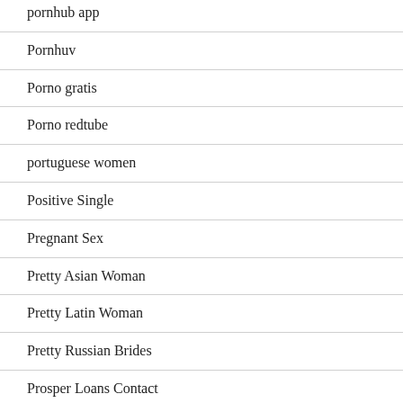pornhub app
Pornhuv
Porno gratis
Porno redtube
portuguese women
Positive Single
Pregnant Sex
Pretty Asian Woman
Pretty Latin Woman
Pretty Russian Brides
Prosper Loans Contact
Puerto Rico Bride